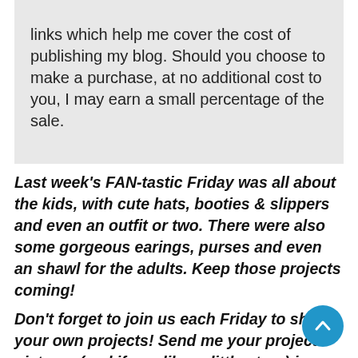links which help me cover the cost of publishing my blog. Should you choose to make a purchase, at no additional cost to you, I may earn a small percentage of the sale.
Last week's FAN-tastic Friday was all about the kids, with cute hats, booties & slippers and even an outfit or two. There were also some gorgeous earings, purses and even an shawl for the adults. Keep those projects coming!
Don't forget to join us each Friday to share your own projects! Send me your project pictures (and if you like, a little story) in email at ThePatternParadise@gmail.com or post